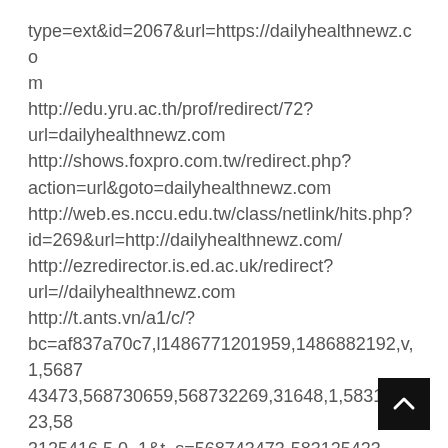type=ext&id=2067&url=https://dailyhealthnewz.com
http://edu.yru.ac.th/prof/redirect/72?url=dailyhealthnewz.com
http://shows.foxpro.com.tw/redirect.php?action=url&goto=dailyhealthnewz.com
http://web.es.nccu.edu.tw/class/netlink/hits.php?id=269&url=http://dailyhealthnewz.com/
http://ezredirector.is.ed.ac.uk/redirect?url=//dailyhealthnewz.com
http://t.ants.vn/a1/c/?bc=af837a70c7,l1486771201959,1486882192,v,1,568743473,568730659,568732269,31648,1,583125423,583125416,5,0_1&t_s=568743473-583125423-568732269:1&t_z=&t_tp=&t_itr=&t_imk=&t_rm=_tp=31647:1&c_itr=-1:-1&c_imk=-1:-1&c_rm=&redirec